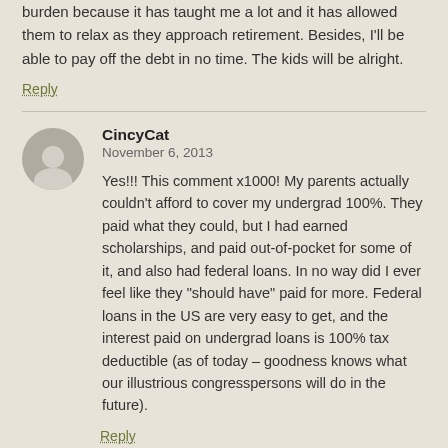burden because it has taught me a lot and it has allowed them to relax as they approach retirement. Besides, I'll be able to pay off the debt in no time. The kids will be alright.
Reply
CincyCat
November 6, 2013
Yes!!! This comment x1000! My parents actually couldn't afford to cover my undergrad 100%. They paid what they could, but I had earned scholarships, and paid out-of-pocket for some of it, and also had federal loans. In no way did I ever feel like they "should have" paid for more. Federal loans in the US are very easy to get, and the interest paid on undergrad loans is 100% tax deductible (as of today – goodness knows what our illustrious congresspersons will do in the future).
Reply
Lisa Cee
August 7, 2014